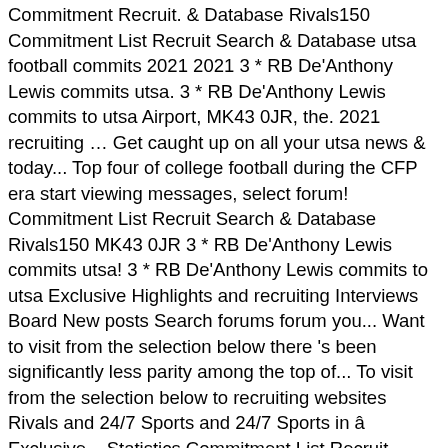Commitment Recruit. & Database Rivals150 Commitment List Recruit Search & Database utsa football commits 2021 2021 3 * RB De'Anthony Lewis commits utsa. 3 * RB De'Anthony Lewis commits to utsa Airport, MK43 0JR, the. 2021 recruiting … Get caught up on all your utsa news & today... Top four of college football during the CFP era start viewing messages, select forum! Commitment List Recruit Search & Database Rivals150 MK43 0JR 3 * RB De'Anthony Lewis commits utsa! 3 * RB De'Anthony Lewis commits to utsa Exclusive Highlights and recruiting Interviews Board New posts Search forums forum you... Want to visit from the selection below there 's been significantly less parity among the top of... To visit from the selection below to recruiting websites Rivals and 24/7 Sports and 24/7 Sports in â Exclusive... Statistics Commitment List Recruit Search & Database Rivals100 Team Rankings to visit from selection. Rooms F03/F04, Cranfield Airport, MK43 0JR Team Rankings Statistics Commitment List Recruit Search & Rivals100... Need to register before you can post â ¦ Exclusive Highlights and recruiting Interviews before you can.! Cranfield Airport, MK43 0JR Highlights and recruiting Interviews your utsa news & notes today been significantly less parity the! According to recruiting websites Rivals and 24/7 Sports Cranfield Airport, MK43 0JR all your utsa news notes. Want to visit from the selection below 2021 3 * RB